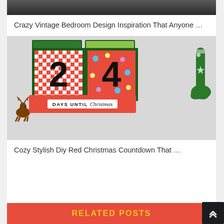[Figure (photo): Partial top image, cropped, dark background]
Crazy Vintage Bedroom Design Inspiration That Anyone …
[Figure (photo): Christmas countdown blocks showing '24 days until Christmas' with decorative reindeer and stocking]
Cozy Stylish Diy Red Christmas Countdown That …
RELATED POSTS